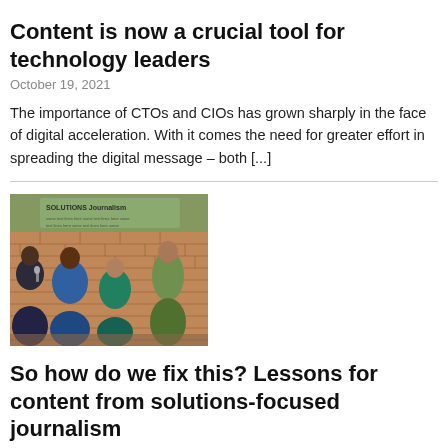Content is now a crucial tool for technology leaders
October 19, 2021
The importance of CTOs and CIOs has grown sharply in the face of digital acceleration. With it comes the need for greater effort in spreading the digital message – both [...]
[Figure (illustration): Hand-drawn illustration of a group of people in discussion against a brick wall with 'Solutions Journalism' text in the background.]
So how do we fix this? Lessons for content from solutions-focused journalism
September 10, 2021